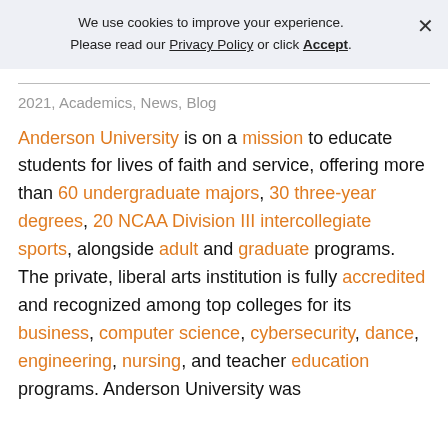We use cookies to improve your experience. Please read our Privacy Policy or click Accept.
2021, Academics, News, Blog
Anderson University is on a mission to educate students for lives of faith and service, offering more than 60 undergraduate majors, 30 three-year degrees, 20 NCAA Division III intercollegiate sports, alongside adult and graduate programs. The private, liberal arts institution is fully accredited and recognized among top colleges for its business, computer science, cybersecurity, dance, engineering, nursing, and teacher education programs. Anderson University was